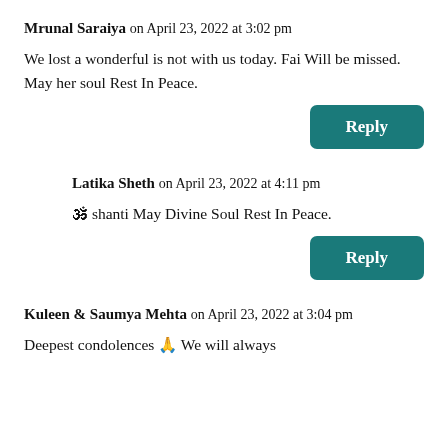Mrunal Saraiya on April 23, 2022 at 3:02 pm
We lost a wonderful is not with us today. Fai Will be missed. May her soul Rest In Peace.
Reply
Latika Sheth on April 23, 2022 at 4:11 pm
🕉 shanti May Divine Soul Rest In Peace.
Reply
Kuleen & Saumya Mehta on April 23, 2022 at 3:04 pm
Deepest condolences 🙏 We will always